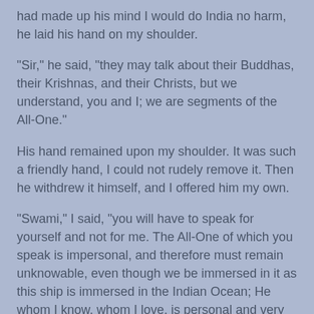had made up his mind I would do India no harm, he laid his hand on my shoulder.
"Sir," he said, "they may talk about their Buddhas, their Krishnas, and their Christs, but we understand, you and I; we are segments of the All-One."
His hand remained upon my shoulder. It was such a friendly hand, I could not rudely remove it. Then he withdrew it himself, and I offered him my own.
"Swami," I said, "you will have to speak for yourself and not for me. The All-One of which you speak is impersonal, and therefore must remain unknowable, even though we be immersed in it as this ship is immersed in the Indian Ocean; He whom I know, whom I love, is personal and very very real — and, Swami, in Him all fullness dwells.
The sweet-briar went swiftly to his lips, and the